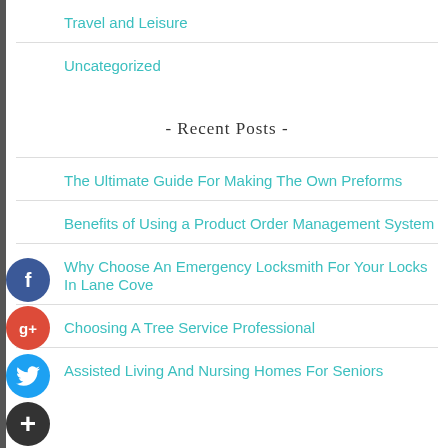Travel and Leisure
Uncategorized
- Recent Posts -
The Ultimate Guide For Making The Own Preforms
Benefits of Using a Product Order Management System
Why Choose An Emergency Locksmith For Your Locks In Lane Cove
Choosing A Tree Service Professional
Assisted Living And Nursing Homes For Seniors